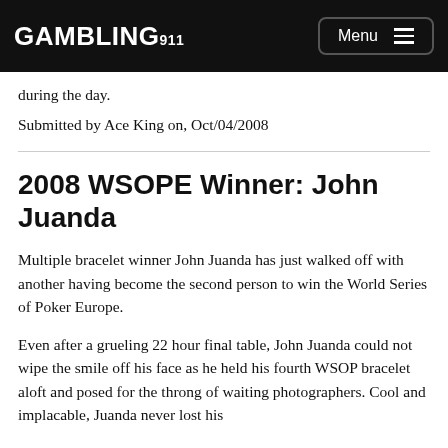GAMBLING911 Menu
during the day.
Submitted by Ace King on, Oct/04/2008
2008 WSOPE Winner: John Juanda
Multiple bracelet winner John Juanda has just walked off with another having become the second person to win the World Series of Poker Europe.
Even after a grueling 22 hour final table, John Juanda could not wipe the smile off his face as he held his fourth WSOP bracelet aloft and posed for the throng of waiting photographers. Cool and implacable, Juanda never lost his